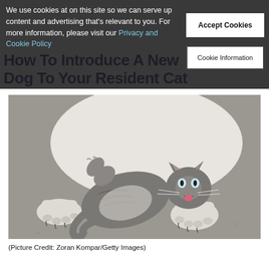We use cookies at on this site so we can serve up content and advertising that's relevant to you. For more information, please visit our Privacy and Cookie Policy
How To Introduce A New Dog To Your Resident Cat
[Figure (photo): A gray and white tabby kitten playing on its back with a large white dog. The cat has its mouth open showing its tongue and is pawing up at the dog. The scene is on a concrete surface outdoors.]
(Picture Credit: Zoran Kompar/Getty Images)